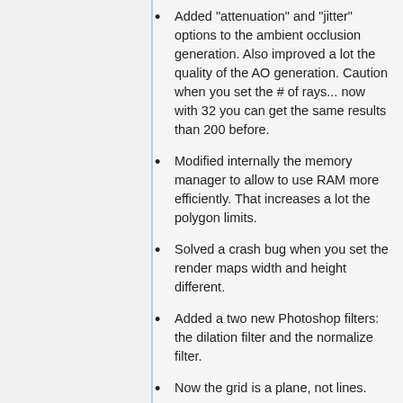Added "attenuation" and "jitter" options to the ambient occlusion generation. Also improved a lot the quality of the AO generation. Caution when you set the # of rays... now with 32 you can get the same results than 200 before.
Modified internally the memory manager to allow to use RAM more efficiently. That increases a lot the polygon limits.
Solved a crash bug when you set the render maps width and height different.
Added a two new Photoshop filters: the dilation filter and the normalize filter.
Now the grid is a plane, not lines.
Solved a problem that was causing the 3DSMAX6/7/8 exporter not to be